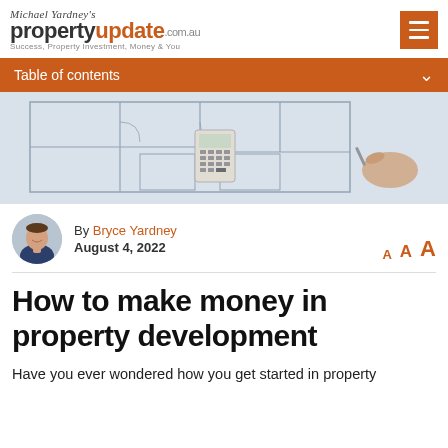Michael Yardney's propertyupdate.com.au — Success, Property Investment, Money & You
Table of contents
[Figure (photo): Architectural blueprints/floor plans spread on a table with a calculator and a hand holding a pen drawing on them.]
By Bryce Yardney
August 4, 2022
How to make money in property development
Have you ever wondered how you get started in property